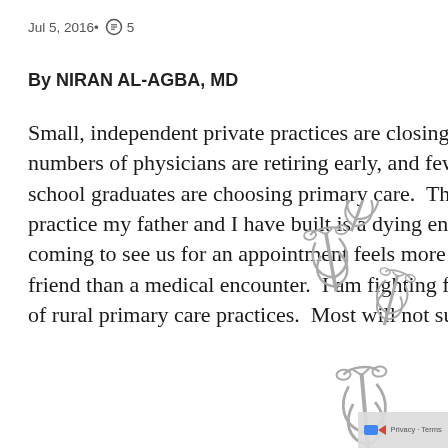Jul 5, 2016•  5
By NIRAN AL-AGBA, MD
Small, independent private practices are closing, increasing numbers of physicians are retiring early, and fewer medical school graduates are choosing primary care.  The old-fashioned practice my father and I have built is a dying entity.  Parents say coming to see us for an appointment feels more like a visit with a friend than a medical encounter.  I am fighting for the subsistence of rural primary care practices.  Most will not survive
[Figure (illustration): Three caduceus medical symbols arranged in a scattered pattern]
[Figure (illustration): One caduceus medical symbol, larger, lower right area]
[Figure (logo): Privacy & Terms badge with reCAPTCHA logo]